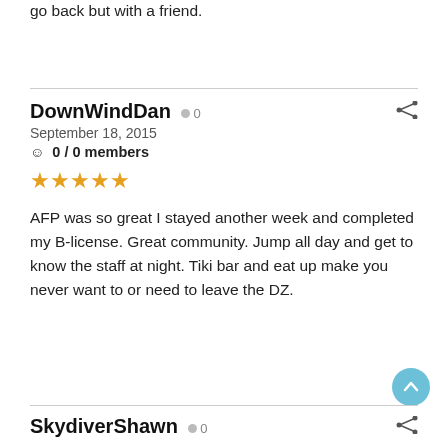go back but with a friend.
DownWindDan • 0
September 18, 2015
☺ 0 / 0 members
★★★★★
AFP was so great I stayed another week and completed my B-license. Great community. Jump all day and get to know the staff at night. Tiki bar and eat up make you never want to or need to leave the DZ.
SkydiverShawn • 0